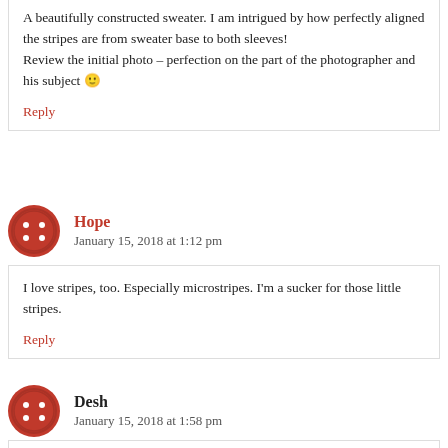A beautifully constructed sweater. I am intrigued by how perfectly aligned the stripes are from sweater base to both sleeves!
Review the initial photo – perfection on the part of the photographer and his subject 🙂
Reply
Hope
January 15, 2018 at 1:12 pm
I love stripes, too. Especially microstripes. I'm a sucker for those little stripes.
Reply
Desh
January 15, 2018 at 1:58 pm